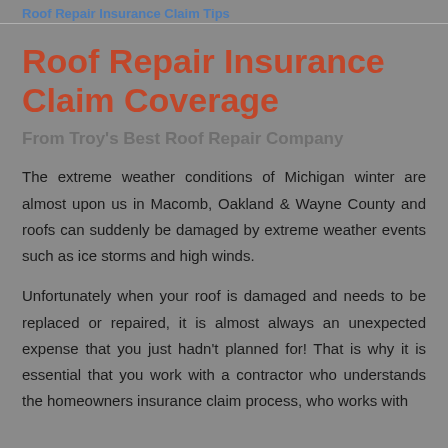Roof Repair Insurance Claim Tips
Roof Repair Insurance Claim Coverage
From Troy's Best Roof Repair Company
The extreme weather conditions of Michigan winter are almost upon us in Macomb, Oakland & Wayne County and roofs can suddenly be damaged by extreme weather events such as ice storms and high winds.
Unfortunately when your roof is damaged and needs to be replaced or repaired, it is almost always an unexpected expense that you just hadn't planned for! That is why it is essential that you work with a contractor who understands the homeowners insurance claim process, who works with